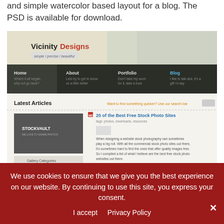and simple watercolor based layout for a blog. The PSD is available for download.
[Figure (screenshot): Screenshot of VicinityDesigns blog website showing navigation menu with Home, About, Portfolio, Blog tabs, a Latest Articles section featuring a StockVault stock photo site article titled '20 of the Best Free Stock Photo Sites']
Creating an Abstract Watercolor Wallpaper
There are plenty of ways to create a watercolor
We use cookies to ensure that we give you the best experience on our website. By continuing to use this site, you express your consent.
I accept   Privacy Policy